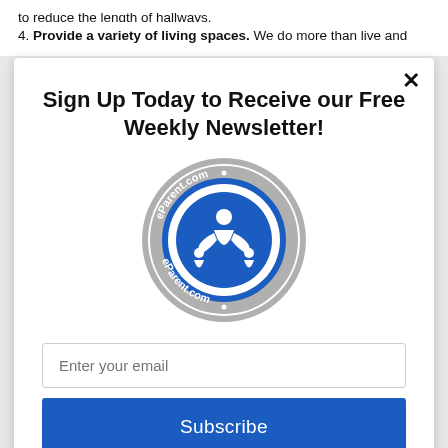to reduce the length of hallways.
4. Provide a variety of living spaces. We do more than live and
Sign Up Today to Receive our Free Weekly Newsletter!
[Figure (logo): eParent.com circular badge logo with blue and grey colors, showing stylized parent and children figures]
Enter your email
Subscribe
powered by MailMunch